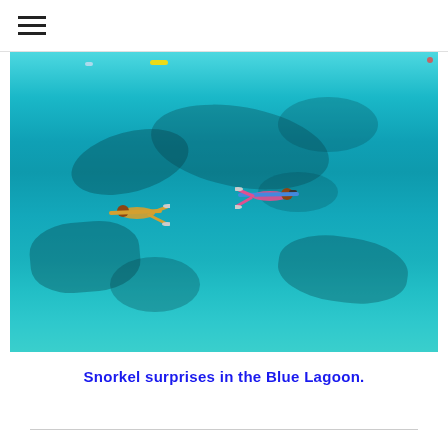☰
[Figure (photo): Aerial view of two snorkelers floating in clear turquoise water over a coral reef in the Blue Lagoon. The water is vivid teal/blue-green with dark reef shadows visible beneath the surface. Two people in colorful swimwear are spread-eagled on the water surface.]
Snorkel surprises in the Blue Lagoon.